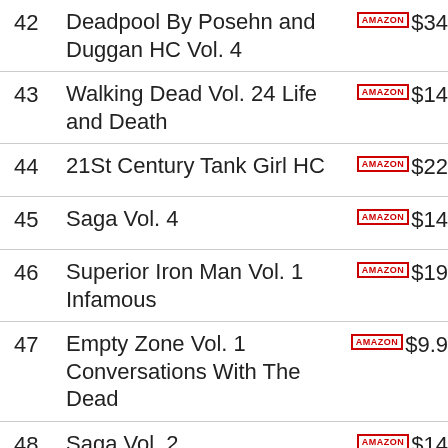42 Deadpool By Posehn and Duggan HC Vol. 4 AMAZON $34
43 Walking Dead Vol. 24 Life and Death AMAZON $14
44 21St Century Tank Girl HC AMAZON $22
45 Saga Vol. 4 AMAZON $14
46 Superior Iron Man Vol. 1 Infamous AMAZON $19
47 Empty Zone Vol. 1 Conversations With The Dead AMAZON $9.9
48 Saga Vol. 2 AMAZON $14
49 Superman Doomed AMAZON $29
50 My Little Pony Friends Forever Vol. 5 AMAZON $17
51 Future Imperfect Warzones AMAZON $17
52 Sandman Overture Deluxe Ed HC AMAZON $24